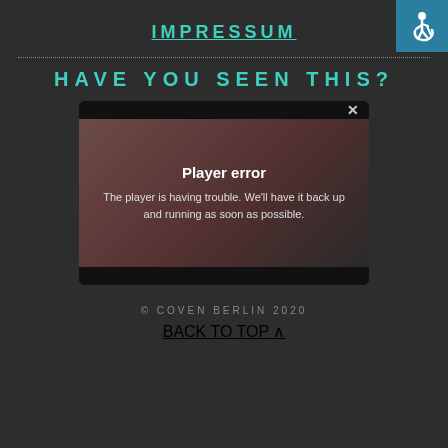IMPRESSUM
[Figure (illustration): Accessibility icon (wheelchair symbol) on teal/blue square background, top right corner]
HAVE YOU SEEN THIS?
[Figure (screenshot): Screenshot of a video player error overlay showing 'Player error' and message 'The player is having trouble. We'll have it back up and running as soon as possible.' over a blurred image of red lips, with a close X button in upper right.]
© COVEN BERLIN 2020
BACK TO TOP ∧